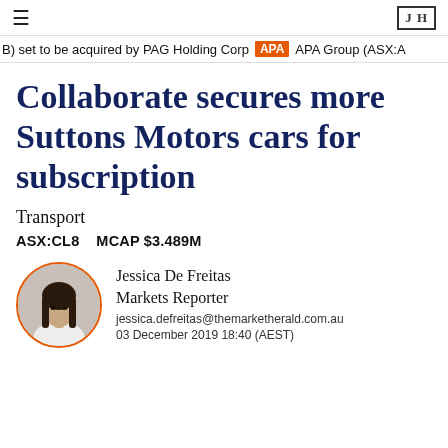≡   TMH
B) set to be acquired by PAG Holding Corp   APA   APA Group (ASX:A
Collaborate secures more Suttons Motors cars for subscription
Transport
ASX:CL8   MCAP $3.489M
[Figure (photo): Headshot photo of Jessica De Freitas, Markets Reporter, shown in a circular frame with orange border]
Jessica De Freitas
Markets Reporter
jessica.defreitas@themarketherald.com.au
03 December 2019 18:40 (AEST)